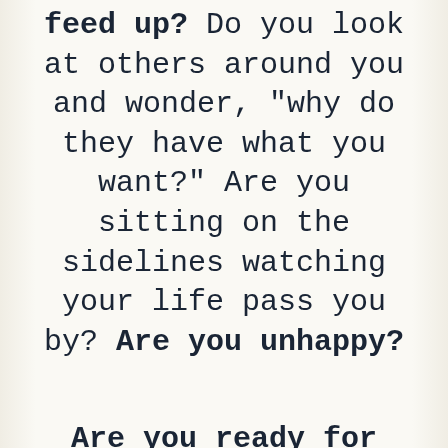feed up? Do you look at others around you and wonder, "why do they have what you want?" Are you sitting on the sidelines watching your life pass you by? Are you unhappy?
Are you ready for change?
At this workshop, you will learn the 12 St...